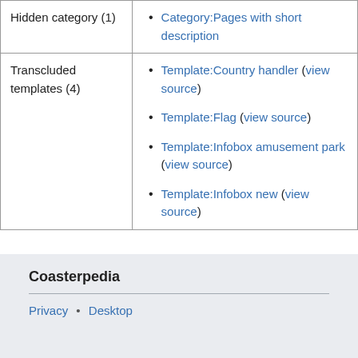| Hidden category (1) | Category:Pages with short description |
| Transcluded templates (4) | Template:Country handler (view source)
Template:Flag (view source)
Template:Infobox amusement park (view source)
Template:Infobox new (view source) |
Coasterpedia
Privacy • Desktop